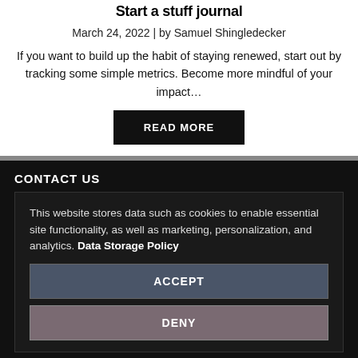Start a stuff journal
March 24, 2022 | by Samuel Shingledecker
If you want to build up the habit of staying renewed, start out by tracking some simple metrics. Become more mindful of your impact…
READ MORE
CONTACT US
This website stores data such as cookies to enable essential site functionality, as well as marketing, personalization, and analytics. Data Storage Policy
ACCEPT
DENY